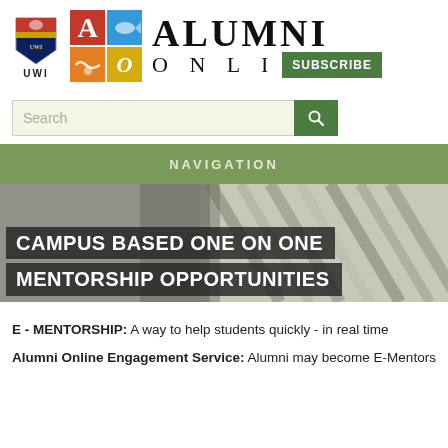[Figure (logo): UWI crest and Alumni Online logo with colored blocks and ALUMNI ONLINE text and SUBSCRIBE button]
[Figure (other): Search bar with green search button]
NAVIGATION
[Figure (photo): Hero image of a building/corridor with overlay text: CAMPUS BASED ONE ON ONE MENTORSHIP OPPORTUNITIES]
E - MENTORSHIP: A way to help students quickly - in real time
Alumni Online Engagement Service: Alumni may become E-Mentors